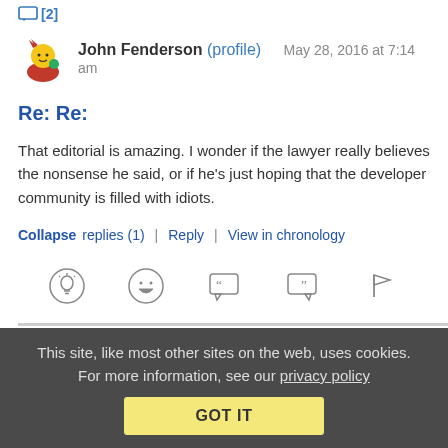[2]
John Fenderson (profile)   May 28, 2016 at 7:14 am
Re: Re:
That editorial is amazing. I wonder if the lawyer really believes the nonsense he said, or if he's just hoping that the developer community is filled with idiots.
Collapse replies (1) | Reply | View in chronology
[Figure (infographic): Row of 5 action icons: lightbulb, laughing face, open quote bubble, close quote bubble, flag]
This site, like most other sites on the web, uses cookies. For more information, see our privacy policy GOT IT